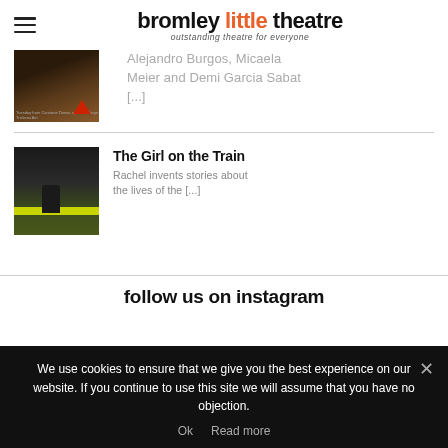bromley little theatre — outstanding theatre for everyone
Alejandro Burgos, Micaela Meier and Demi Garcia Sabat [...]
[Figure (photo): Thumbnail of a performer with a guitar, dark background with a red triangle/arrow logo]
[Figure (photo): Thumbnail of The Girl on the Train promotion image showing a person near a train with yellow-green stripe]
The Girl on the Train
Rachel invents stories about the lives of the [...]
follow us on instagram
We use cookies to ensure that we give you the best experience on our website. If you continue to use this site we will assume that you have no objection.
Ok   Read more